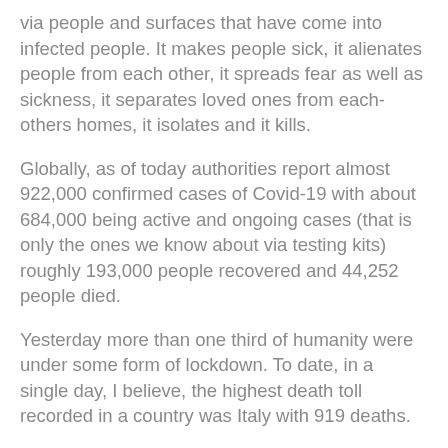via people and surfaces that have come into infected people. It makes people sick, it alienates people from each other, it spreads fear as well as sickness, it separates loved ones from each-others homes, it isolates and it kills.
Globally, as of today authorities report almost 922,000 confirmed cases of Covid-19 with about 684,000 being active and ongoing cases (that is only the ones we know about via testing kits) roughly 193,000 people recovered and 44,252 people died.
Yesterday more than one third of humanity were under some form of lockdown. To date, in a single day, I believe, the highest death toll recorded in a country was Italy with 919 deaths.
BUT… and it is a huge BUT… people are drawing